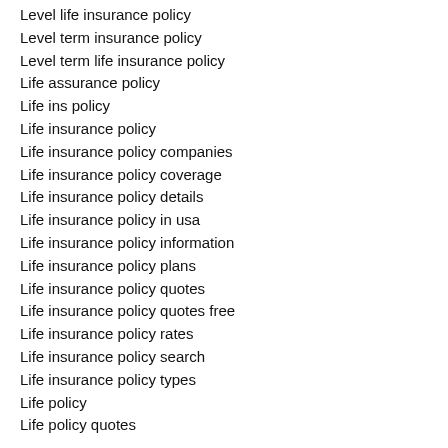Level life insurance policy
Level term insurance policy
Level term life insurance policy
Life assurance policy
Life ins policy
Life insurance policy
Life insurance policy companies
Life insurance policy coverage
Life insurance policy details
Life insurance policy in usa
Life insurance policy information
Life insurance policy plans
Life insurance policy quotes
Life insurance policy quotes free
Life insurance policy rates
Life insurance policy search
Life insurance policy types
Life policy
Life policy quotes